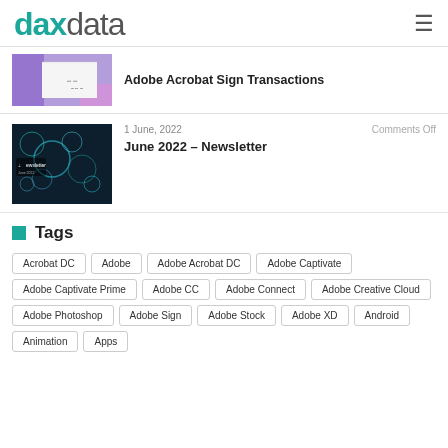daxdata
Adobe Acrobat Sign Transactions
1 June, 2022 | Comments Off
June 2022 – Newsletter
Tags
Acrobat DC
Adobe
Adobe Acrobat DC
Adobe Captivate
Adobe Captivate Prime
Adobe CC
Adobe Connect
Adobe Creative Cloud
Adobe Photoshop
Adobe Sign
Adobe Stock
Adobe XD
Android
Animation
Apps